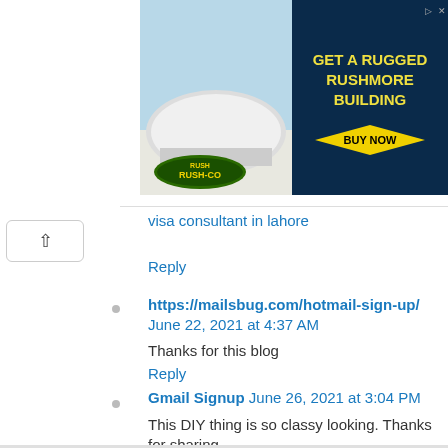[Figure (infographic): Rush-Co building advertisement banner showing a white dome structure in snow and text 'GET A RUGGED RUSHMORE BUILDING' with BUY NOW button]
visa consultant in lahore
Reply
https://mailsbug.com/hotmail-sign-up/ June 22, 2021 at 4:37 AM
Thanks for this blog
Reply
Gmail Signup June 26, 2021 at 3:04 PM
This DIY thing is so classy looking. Thanks for sharing.
Reply